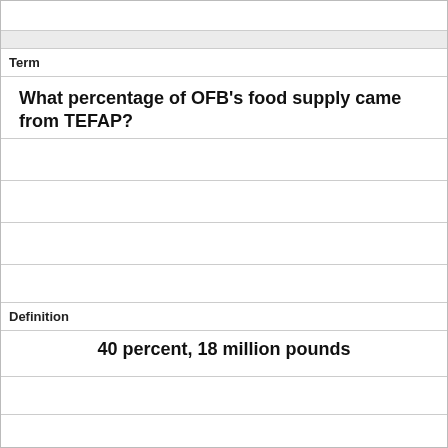Term
What percentage of OFB's food supply came from TEFAP?
Definition
40 percent, 18 million pounds